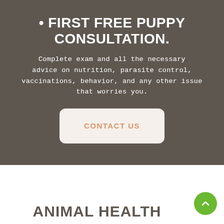• FIRST FREE PUPPY CONSULTATION.
Complete exam and all the necessary advice on nutrition, parasite control, vaccinations, behavior, and any other issue that worries you.
CONTACT US
ANIMAL HEALTH